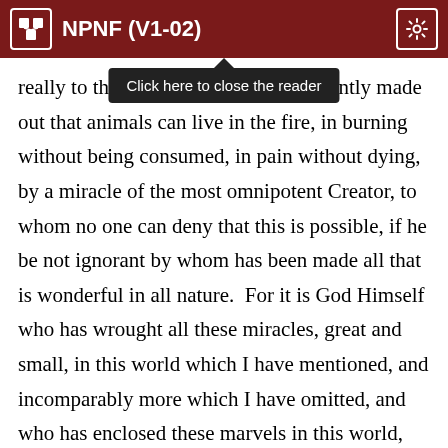NPNF (V1-02)
really to the sufficiently made out that animals can live in the fire, in burning without being consumed, in pain without dying, by a miracle of the most omnipotent Creator, to whom no one can deny that this is possible, if he be not ignorant by whom has been made all that is wonderful in all nature.  For it is God Himself who has wrought all these miracles, great and small, in this world which I have mentioned, and incomparably more which I have omitted, and who has enclosed these marvels in this world, itself the greatest miracle of all.  Let each man, then, choose